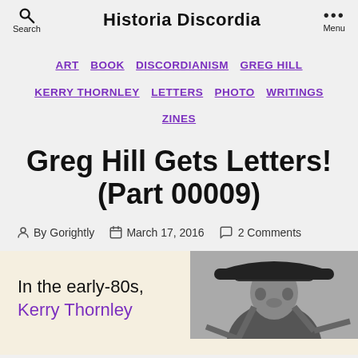Historia Discordia
ART  BOOK  DISCORDIANISM  GREG HILL  KERRY THORNLEY  LETTERS  PHOTO  WRITINGS  ZINES
Greg Hill Gets Letters! (Part 00009)
By Gorightly  March 17, 2016  2 Comments
In the early-80s, Kerry Thornley
[Figure (photo): Black and white photo of a person wearing a wide-brimmed hat, partially cropped]